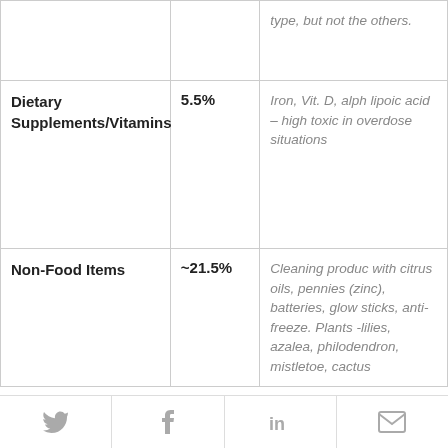| Category | Percentage | Examples |
| --- | --- | --- |
|  |  | type, but not the others. |
| Dietary Supplements/Vitamins | 5.5% | Iron, Vit. D, alpha lipoic acid – highly toxic in overdose situations |
| Non-Food Items | ~21.5% | Cleaning products with citrus oils, pennies (zinc), batteries, glow sticks, anti-freeze. Plants -lilies, azalea, philodendron, mistletoe, cactus |
Twitter | Facebook | LinkedIn | Email